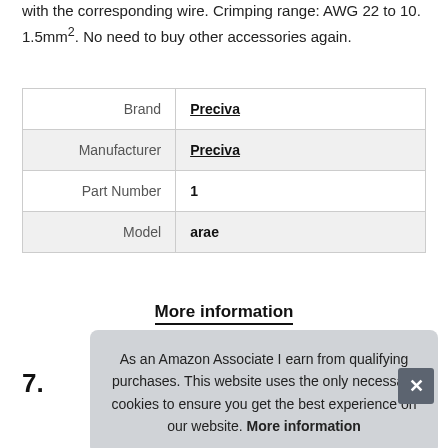with the corresponding wire. Crimping range: AWG 22 to 10. 1.5mm². No need to buy other accessories again.
| Brand | Preciva |
| Manufacturer | Preciva |
| Part Number | 1 |
| Model | arae |
More information
7.
As an Amazon Associate I earn from qualifying purchases. This website uses the only necessary cookies to ensure you get the best experience on our website. More information